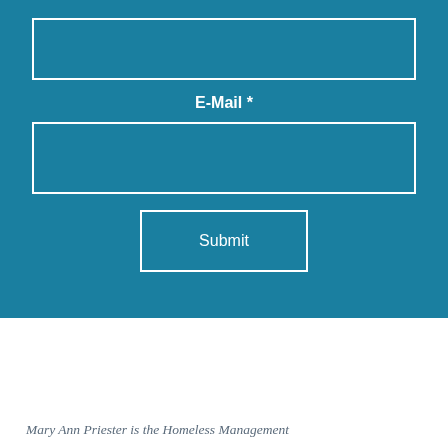[Figure (screenshot): Web form input field (text box) with white border on teal/blue background — top field (likely Name or similar)]
E-Mail *
[Figure (screenshot): Web form email input field with white border on teal/blue background]
[Figure (screenshot): Submit button with white border on teal/blue background, labeled 'Submit']
Mary Ann Priester is the Homeless Management